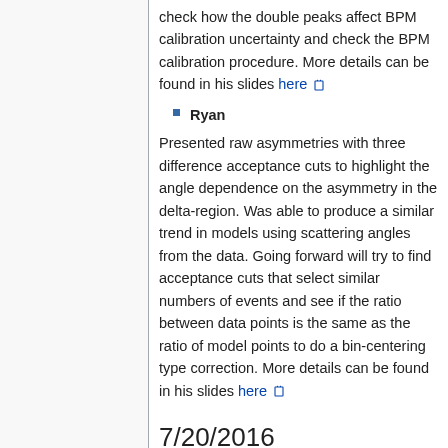check how the double peaks affect BPM calibration uncertainty and check the BPM calibration procedure. More details can be found in his slides here
Ryan
Presented raw asymmetries with three difference acceptance cuts to highlight the angle dependence on the asymmetry in the delta-region. Was able to produce a similar trend in models using scattering angles from the data. Going forward will try to find acceptance cuts that select similar numbers of events and see if the ratio between data points is the same as the ratio of model points to do a bin-centering type correction. More details can be found in his slides here
7/20/2016
Present: Ryan, Toby, Jie, Vince, Alexandre , Kalyan, Karl, Ellie
Verbal Updates: